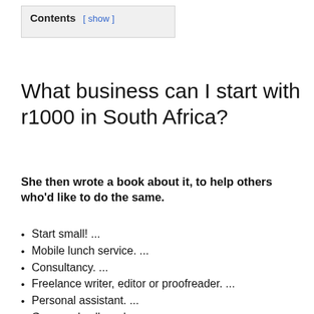Contents [ show ]
What business can I start with r1000 in South Africa?
She then wrote a book about it, to help others who'd like to do the same.
Start small! ...
Mobile lunch service. ...
Consultancy. ...
Freelance writer, editor or proofreader. ...
Personal assistant. ...
Grow and sell produce. ...
Tutor. ...